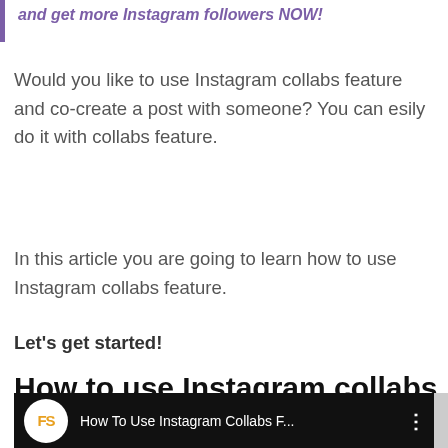and get more Instagram followers NOW!
Would you like to use Instagram collabs feature and co-create a post with someone? You can esily do it with collabs feature.
In this article you are going to learn how to use Instagram collabs feature.
Let's get started!
How to use Instagram collabs feature?
[Figure (screenshot): Video thumbnail showing 'How To Use Instagram Collabs F...' with a logo circle containing 'FS' in orange on a black background]